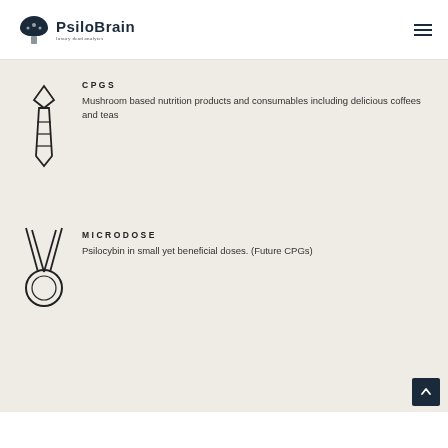PsiloBrain — luxury dead analytes (logo + hamburger menu)
CPGS
Mushroom based nutrition products and consumables including delicious coffees and teas
MICRODOSE
Psilocybin in small yet beneficial doses. (Future CPGs)